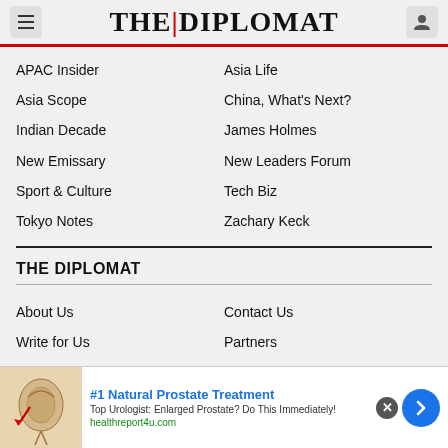THE DIPLOMAT
APAC Insider
Asia Life
Asia Scope
China, What's Next?
Indian Decade
James Holmes
New Emissary
New Leaders Forum
Sport & Culture
Tech Biz
Tokyo Notes
Zachary Keck
THE DIPLOMAT
About Us
Contact Us
Write for Us
Partners
Advertise
Syndicate
[Figure (screenshot): Advertisement banner: #1 Natural Prostate Treatment. Top Urologist: Enlarged Prostate? Do This Immediately! healthreport4u.com]